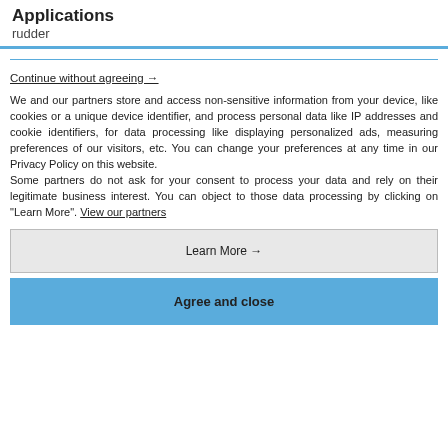Applications
rudder
Continue without agreeing →
We and our partners store and access non-sensitive information from your device, like cookies or a unique device identifier, and process personal data like IP addresses and cookie identifiers, for data processing like displaying personalized ads, measuring preferences of our visitors, etc. You can change your preferences at any time in our Privacy Policy on this website.
Some partners do not ask for your consent to process your data and rely on their legitimate business interest. You can object to those data processing by clicking on "Learn More". View our partners
Learn More →
Agree and close